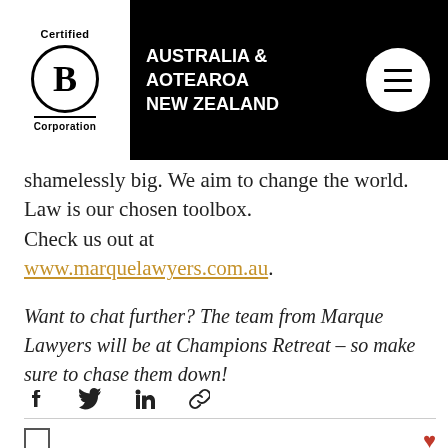[Figure (logo): Certified B Corporation logo with Australia & Aotearoa New Zealand text on black header bar with hamburger menu circle]
shamelessly big. We aim to change the world. Law is our chosen toolbox.
Check us out at www.marquelawyers.com.au.
Want to chat further? The team from Marque Lawyers will be at Champions Retreat – so make sure to chase them down!
[Figure (infographic): Social share icons row: Facebook, Twitter, LinkedIn, link/chain icon]